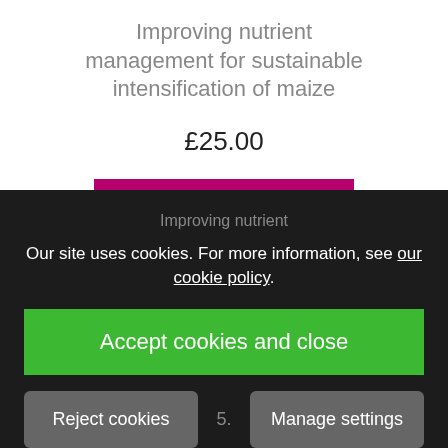Improving nutrient management for sustainable intensification of maize
£25.00
VIEW DETAILS
[Figure (illustration): Small book cover image showing 'Improving nutrient management for sustainable intensification of maize' with a pink/magenta top and dark landscape bottom]
Improving nutrient
Our site uses cookies. For more information, see our cookie policy.
Accept cookies and close
Reject cookies
Manage settings